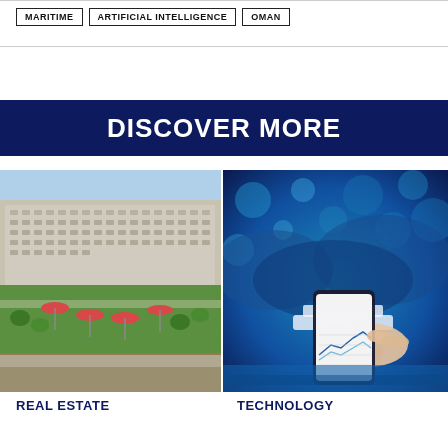MARITIME
ARTIFICIAL INTELLIGENCE
OMAN
DISCOVER MORE
[Figure (photo): Aerial view of a large residential real estate complex with green park area, umbrellas and trees in foreground]
[Figure (photo): Person holding a smartphone displaying charts/graphs with blurred blue technology city background]
REAL ESTATE
TECHNOLOGY